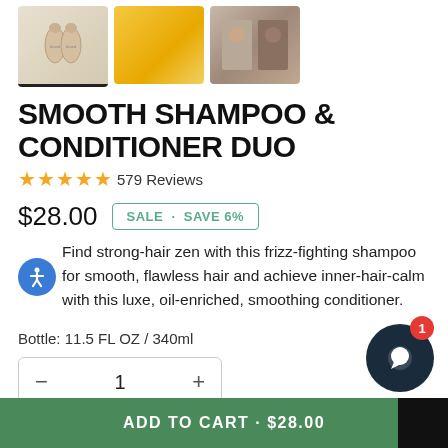[Figure (photo): Three product thumbnail images: two shampoo/conditioner bottles, product with yellow citrus background, model before/after hair comparison]
SMOOTH SHAMPOO & CONDITIONER DUO
★★★★★ 579 Reviews
$28.00   SALE · SAVE 6%
Find strong-hair zen with this frizz-fighting shampoo for smooth, flawless hair and achieve inner-hair-calm with this luxe, oil-enriched, smoothing conditioner.
Bottle: 11.5 FL OZ / 340ml
- 1 +
ADD TO CART · $28.00